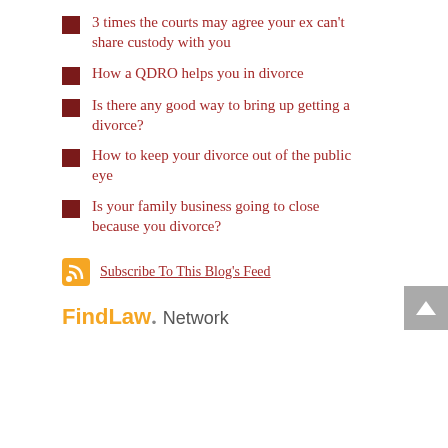3 times the courts may agree your ex can't share custody with you
How a QDRO helps you in divorce
Is there any good way to bring up getting a divorce?
How to keep your divorce out of the public eye
Is your family business going to close because you divorce?
Subscribe To This Blog's Feed
FindLaw. Network